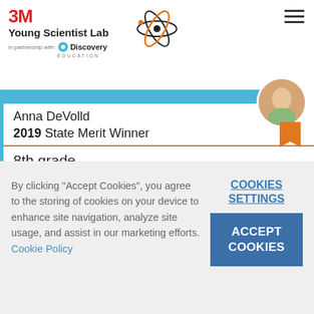3M Young Scientist Lab in partnership with Discovery Education
[Figure (screenshot): Profile card showing Anna DeVolld, 2019 State Merit Winner, 8th grade, with portrait photo and orange ribbon badge]
Anna DeVolld
2019 State Merit Winner
8th grade
By clicking "Accept Cookies", you agree to the storing of cookies on your device to enhance site navigation, analyze site usage, and assist in our marketing efforts. Cookie Policy
COOKIES SETTINGS
ACCEPT COOKIES